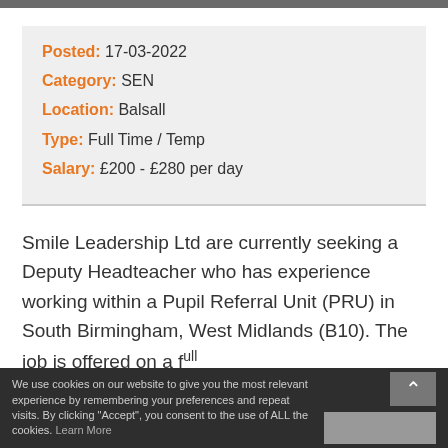| Field | Value |
| --- | --- |
| Posted: | 17-03-2022 |
| Category: | SEN |
| Location: | Balsall |
| Type: | Full Time / Temp |
| Salary: | £200 - £280 per day |
Smile Leadership Ltd are currently seeking a Deputy Headteacher who has experience working within a Pupil Referral Unit (PRU) in South Birmingham, West Midlands (B10). The job is offered on a full
We use cookies on our website to give you the most relevant experience by remembering your preferences and repeat visits. By clicking "Accept", you consent to the use of ALL the cookies. Learn More